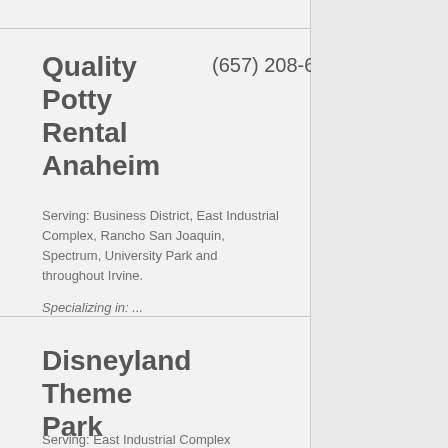Quality Potty Rental Anaheim (657) 208-6695
Serving: Business District, East Industrial Complex, Rancho San Joaquin, Spectrum, University Park and throughout Irvine. Specializing in: ...
Disneyland Theme Park Operations
Serving: East Industrial Complex